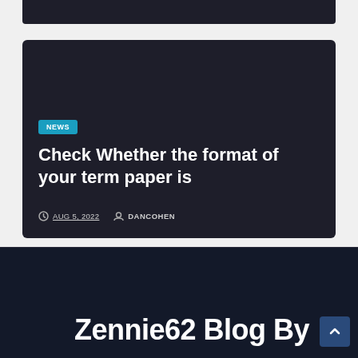[Figure (screenshot): Top portion of a dark blog card (partially visible at top of page)]
[Figure (screenshot): Blog post card with dark background showing NEWS badge, title 'Check Whether the format of your term paper is', date AUG 5, 2022, and author DANCOHEN]
AUG 5, 2022   DANCOHEN
Zennie62 Blog By